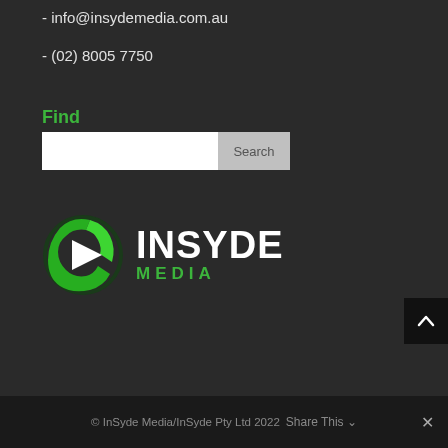- info@insydemedia.com.au
- (02) 8005 7750
Find
[Figure (screenshot): Search bar with text input field and Search button]
[Figure (logo): InSyde Media logo — green play-button icon with INSYDE in white bold text and MEDIA in green text]
© InSyde Media/InSyde Pty Ltd 2022   Share This ∨   ✕